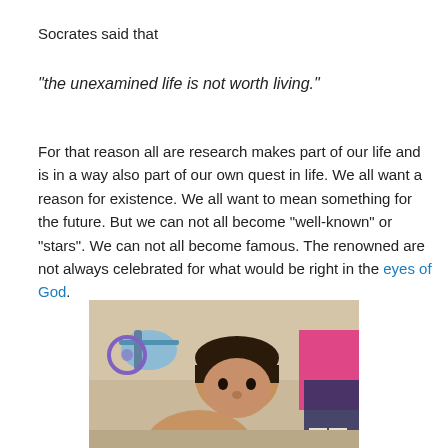Socrates said that
“the unexamined life is not worth living.”
For that reason all are research makes part of our life and is in a way also part of our own quest in life. We all want a reason for existence. We all want to mean something for the future. But we can not all become “well-known” or “stars”. We can not all become famous. The renowned are not always celebrated for what would be right in the eyes of God.
[Figure (photo): A young boy pointing his thumb/finger toward the camera, outdoors near a bicycle. Another person in pink top and dark shorts visible in background.]